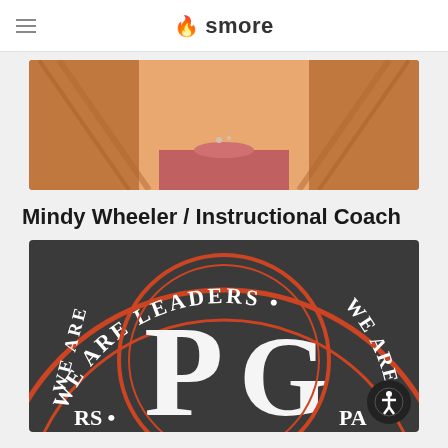smore
[Figure (photo): Partial photo of a woman with long reddish-brown hair wearing a pink top, cropped to show from chin/neck area upward]
Mindy Wheeler / Instructional Coach
[Figure (logo): Dark circular school logo with text 'WE ARE LEADERS • WE ARE' around the border and large letters 'PG' in white with red/orange circle outline in center, on dark gray background]